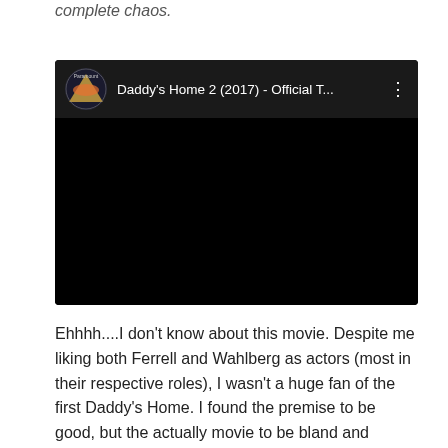complete chaos.
[Figure (screenshot): Embedded video player showing 'Daddy's Home 2 (2017) - Official T...' with Paramount Pictures channel icon, dark/black video frame, and three-dot menu icon.]
Ehhhh....I don't know about this movie. Despite me liking both Ferrell and Wahlberg as actors (most in their respective roles), I wasn't a huge fan of the first Daddy's Home. I found the premise to be good, but the actually movie to be bland and unfunny, which is kind of bad for